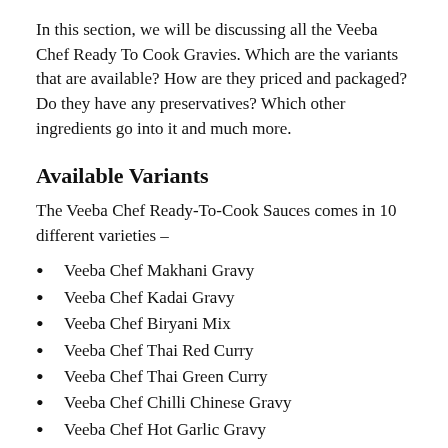In this section, we will be discussing all the Veeba Chef Ready To Cook Gravies. Which are the variants that are available? How are they priced and packaged? Do they have any preservatives? Which other ingredients go into it and much more.
Available Variants
The Veeba Chef Ready-To-Cook Sauces comes in 10 different varieties –
Veeba Chef Makhani Gravy
Veeba Chef Kadai Gravy
Veeba Chef Biryani Mix
Veeba Chef Thai Red Curry
Veeba Chef Thai Green Curry
Veeba Chef Chilli Chinese Gravy
Veeba Chef Hot Garlic Gravy